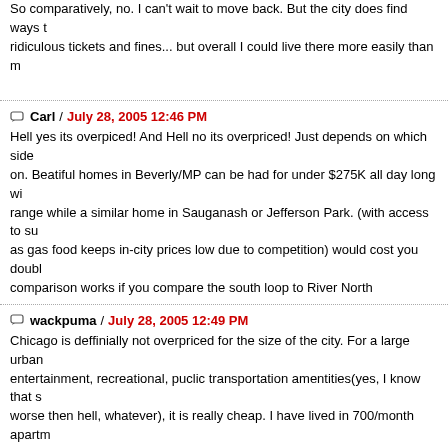So comparatively, no. I can't wait to move back. But the city does find ways to ridiculous tickets and fines... but overall I could live there more easily than mo
Carl / July 28, 2005 12:46 PM
Hell yes its overpiced! And Hell no its overpriced! Just depends on which side on. Beatiful homes in Beverly/MP can be had for under $275K all day long wi range while a similar home in Sauganash or Jefferson Park. (with access to sub as gas food keeps in-city prices low due to competition) would cost you doubl comparison works if you compare the south loop to River North
wackpuma / July 28, 2005 12:49 PM
Chicago is deffinially not overpriced for the size of the city. For a large urban entertainment, recreational, puclic transportation amentities(yes, I know that s worse then hell, whatever), it is really cheap. I have lived in 700/month apartm 500/month apartments in wickerpark. You can get even cheaper in less popula you do that in other east/west coast big cities. I find that most poeple don't hav they eat out way too much, and buy to much stuff like cd's and clothes.
Christy / July 28, 2005 12:53 PM